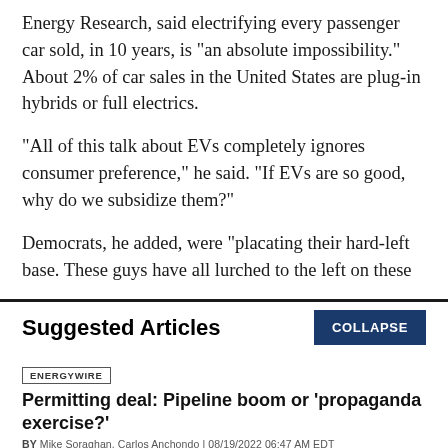Energy Research, said electrifying every passenger car sold, in 10 years, is "an absolute impossibility." About 2% of car sales in the United States are plug-in hybrids or full electrics.
"All of this talk about EVs completely ignores consumer preference," he said. "If EVs are so good, why do we subsidize them?"
Democrats, he added, were "placating their hard-left base. These guys have all lurched to the left on these
Suggested Articles
ENERGYWIRE
Permitting deal: Pipeline boom or ‘propaganda exercise?’
BY Mike Soraghan, Carlos Anchondo | 08/19/2022 06:47 AM EDT
Read More >>
ENERGYWIRE
Climate law may undermine Biden court win on oil leasing